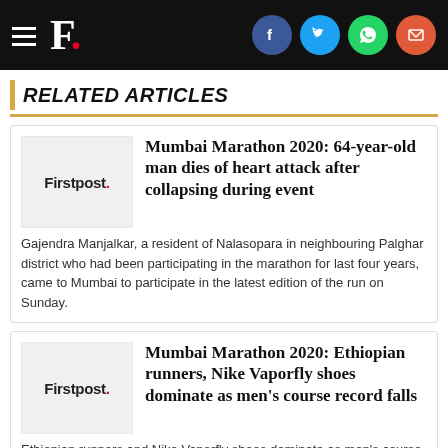F. [Firstpost logo with hamburger menu and social icons: Facebook, Twitter, WhatsApp, Email]
RELATED ARTICLES
Mumbai Marathon 2020: 64-year-old man dies of heart attack after collapsing during event
Gajendra Manjalkar, a resident of Nalasopara in neighbouring Palghar district who had been participating in the marathon for last four years, came to Mumbai to participate in the latest edition of the run on Sunday.
Mumbai Marathon 2020: Ethiopian runners, Nike Vaporfly shoes dominate as men’s course record falls
Ethiopian runners and Nike Vaporfly shoes dominate as men’s course record falls at Mumbai Marathon 2020.